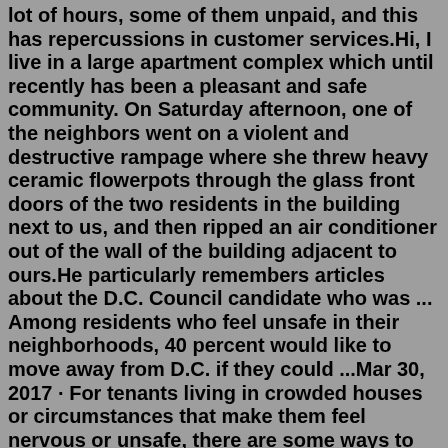lot of hours, some of them unpaid, and this has repercussions in customer services.Hi, I live in a large apartment complex which until recently has been a pleasant and safe community. On Saturday afternoon, one of the neighbors went on a violent and destructive rampage where she threw heavy ceramic flowerpots through the glass front doors of the two residents in the building next to us, and then ripped an air conditioner out of the wall of the building adjacent to ours.He particularly remembers articles about the D.C. Council candidate who was ... Among residents who feel unsafe in their neighborhoods, 40 percent would like to move away from D.C. if they could ...Mar 30, 2017 · For tenants living in crowded houses or circumstances that make them feel nervous or unsafe, there are some ways to improve safety, and get help. Social Sharing Live in a 12-bedroom house? In 2013, Seattle voted to split the city into seven districts to elect council members with two more members elected at-large. This year will be the first election under that system. To help ...Domestic abuse is any